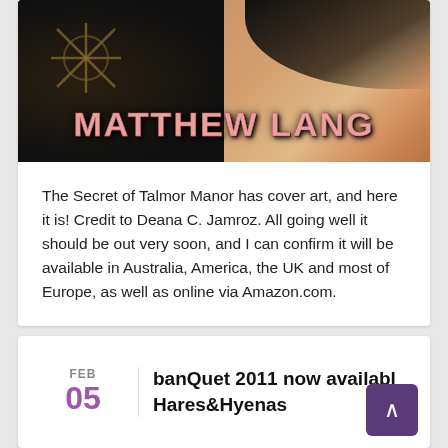[Figure (photo): Book cover art for 'The Secret of Talmor Manor' by Matthew Lang. Dark background with swirling elements on the left, flesh-toned face/skin visible on the right. Large pink/salmon colored letters spell out 'MATTHEW LANG' across the lower portion of the image.]
The Secret of Talmor Manor has cover art, and here it is! Credit to Deana C. Jamroz. All going well it should be out very soon, and I can confirm it will be available in Australia, America, the UK and most of Europe, as well as online via Amazon.com.
banQuet 2011 now available Hares&Hyenas
FEB 05